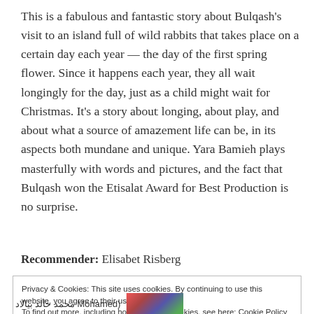This is a fabulous and fantastic story about Bulqash's visit to an island full of wild rabbits that takes place on a certain day each year — the day of the first spring flower. Since it happens each year, they all wait longingly for the day, just as a child might wait for Christmas. It's a story about longing, about play, and about what a source of amazement life can be, in its aspects both mundane and unique. Yara Bamieh plays masterfully with words and pictures, and the fact that Bulqash won the Etisalat Award for Best Production is no surprise.
Recommender: Elisabet Risberg
Privacy & Cookies: This site uses cookies. By continuing to use this website, you agree to their use.
To find out more, including how to control cookies, see here: Cookie Policy
Close and accept
(Mohamed خالد بيالاد محمد)